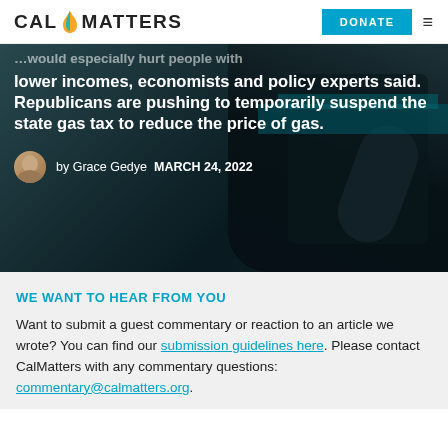CAL MATTERS | DONATE
[Figure (photo): Hero image of a gas pump nozzle with overlaid white bold text about gas prices and Republican proposals to suspend the state gas tax, by Grace Gedye, March 24, 2022]
lower incomes, economists and policy experts said. Republicans are pushing to temporarily suspend the state gas tax to reduce the price of gas.
by Grace Gedye   MARCH 24, 2022
WE WANT TO HEAR FROM YOU
Want to submit a guest commentary or reaction to an article we wrote? You can find our submission guidelines here. Please contact CalMatters with any commentary questions: commentary@calmatters.org.